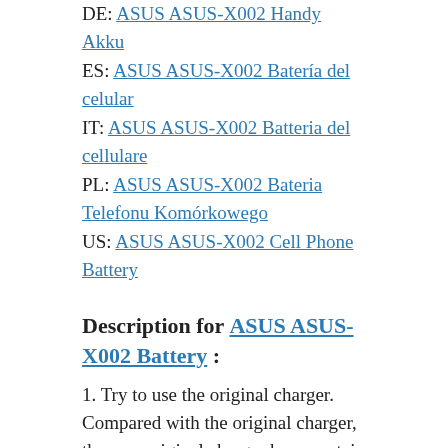DE: ASUS ASUS-X002 Handy Akku
ES: ASUS ASUS-X002 Batería del celular
IT: ASUS ASUS-X002 Batteria del cellulare
PL: ASUS ASUS-X002 Bateria Telefonu Komórkowego
US: ASUS ASUS-X002 Cell Phone Battery
Description for ASUS ASUS-X002 Battery :
1. Try to use the original charger. Compared with the original charger, the non-original charger has a certain gap between the output current and the voltage. The long-term use of the non-original charger can not only reduce the service life of the mobile phone battery, but